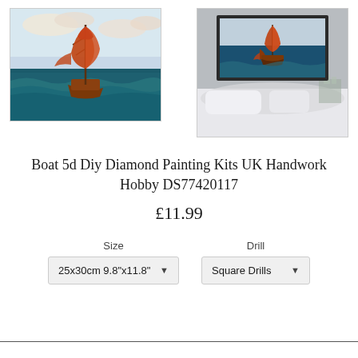[Figure (photo): Painting of a tall sailing ship with orange/red sails on rough seas, close-up view of the artwork]
[Figure (photo): Same sailing ship painting shown hanging on a wall above a bed in a bedroom setting]
Boat 5d Diy Diamond Painting Kits UK Handwork Hobby DS77420117
£11.99
Size
25x30cm 9.8"x11.8"
Drill
Square Drills